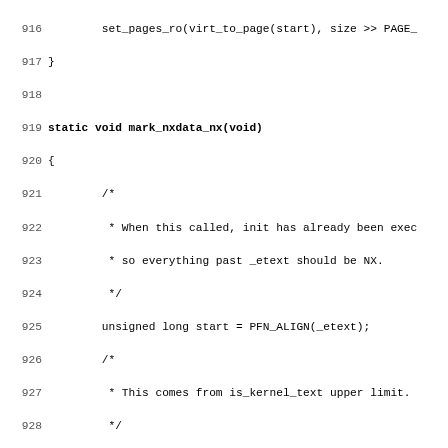[Figure (other): Source code listing in C, lines 916-947, showing functions mark_nxdata_nx and mark_rodata_ro with line numbers]